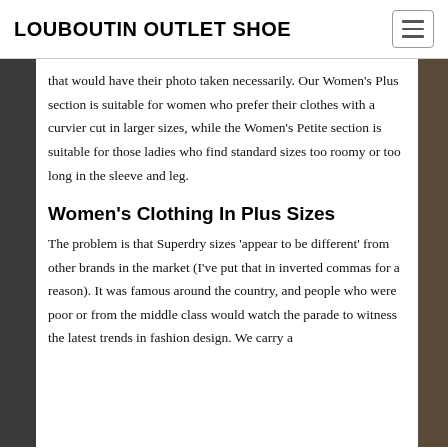LOUBOUTIN OUTLET SHOE
that would have their photo taken necessarily. Our Women’s Plus section is suitable for women who prefer their clothes with a curvier cut in larger sizes, while the Women’s Petite section is suitable for those ladies who find standard sizes too roomy or too long in the sleeve and leg.
Women’s Clothing In Plus Sizes
The problem is that Superdry sizes ‘appear to be different’ from other brands in the market (I’ve put that in inverted commas for a reason). It was famous around the country, and people who were poor or from the middle class would watch the parade to witness the latest trends in fashion design. We carry a